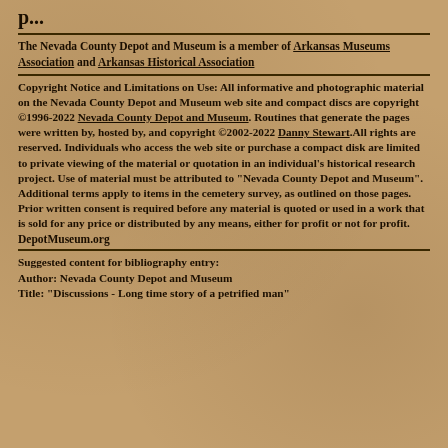p...
The Nevada County Depot and Museum is a member of Arkansas Museums Association and Arkansas Historical Association
Copyright Notice and Limitations on Use: All informative and photographic material on the Nevada County Depot and Museum web site and compact discs are copyright ©1996-2022 Nevada County Depot and Museum. Routines that generate the pages were written by, hosted by, and copyright ©2002-2022 Danny Stewart.All rights are reserved. Individuals who access the web site or purchase a compact disk are limited to private viewing of the material or quotation in an individual's historical research project. Use of material must be attributed to "Nevada County Depot and Museum". Additional terms apply to items in the cemetery survey, as outlined on those pages. Prior written consent is required before any material is quoted or used in a work that is sold for any price or distributed by any means, either for profit or not for profit.
DepotMuseum.org
Suggested content for bibliography entry:
Author: Nevada County Depot and Museum
Title: "Discussions - Long time story of a petrified man"